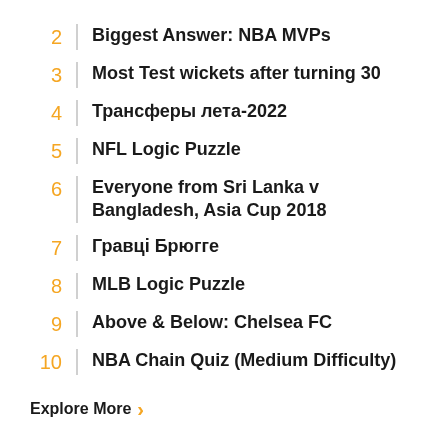2  Biggest Answer: NBA MVPs
3  Most Test wickets after turning 30
4  Трансферы лета-2022
5  NFL Logic Puzzle
6  Everyone from Sri Lanka v Bangladesh, Asia Cup 2018
7  Гравці Брюгге
8  MLB Logic Puzzle
9  Above & Below: Chelsea FC
10  NBA Chain Quiz (Medium Difficulty)
Explore More ›